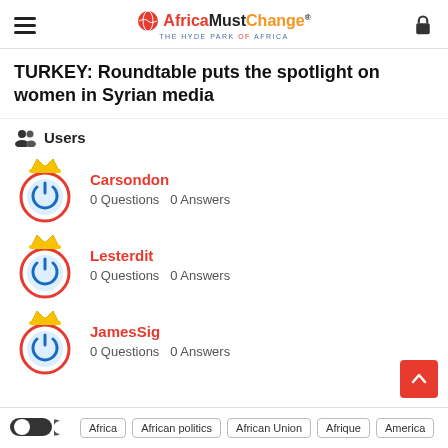AfricaMustChange® THE HYDE PARK OF AFRICA
TURKEY: Roundtable puts the spotlight on women in Syrian media
Users
Carsondon
0 Questions   0 Answers
Lesterdit
0 Questions   0 Answers
JamesSig
0 Questions   0 Answers
Africa   African politics   African Union   Afrique   America